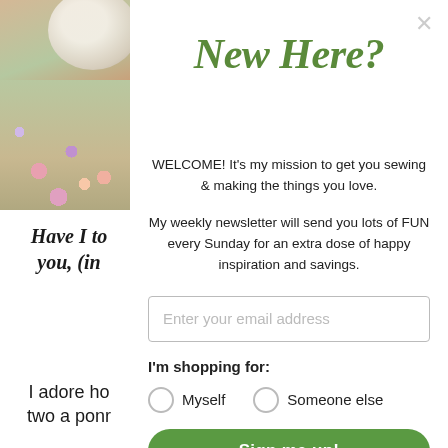[Figure (photo): Left panel showing a cup of coffee or tea from above on a floral/patterned surface, partially cropped]
Have I to you, (i…
New Here?
WELCOME! It's my mission to get you sewing & making the things you love.
My weekly newsletter will send you lots of FUN every Sunday for an extra dose of happy inspiration and savings.
Enter your email address
I'm shopping for:
Myself
Someone else
I adore ho two a ponr…
Sign me up!